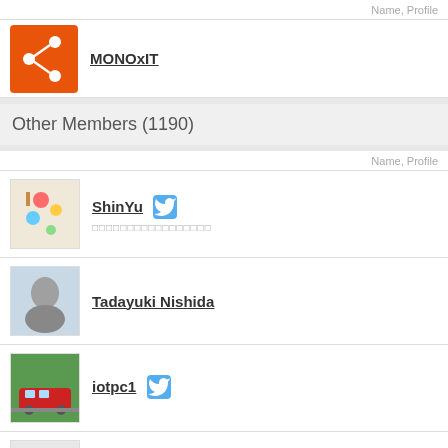Name, Profile
MONOxIT
Other Members (1190)
Name, Profile
ShinYu
Tadayuki Nishida
iotpc1
EWSN